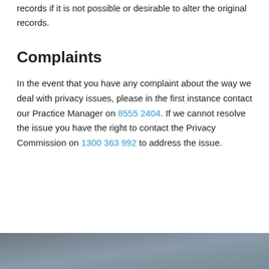records if it is not possible or desirable to alter the original records.
Complaints
In the event that you have any complaint about the way we deal with privacy issues, please in the first instance contact our Practice Manager on 8555 2404. If we cannot resolve the issue you have the right to contact the Privacy Commission on 1300 363 992 to address the issue.